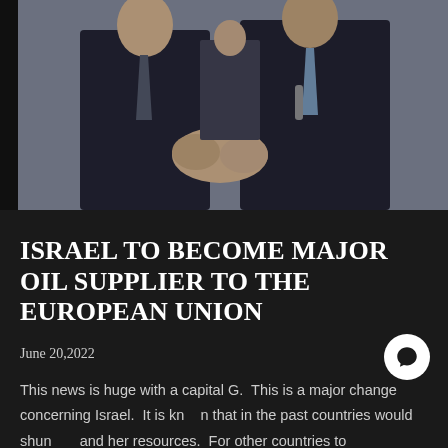[Figure (photo): Two men in dark suits shaking hands outdoors, with other people visible in the background. A professional/diplomatic handshake scene.]
ISRAEL TO BECOME MAJOR OIL SUPPLIER TO THE EUROPEAN UNION
June 20,2022
This news is huge with a capital G.  This is a major change concerning Israel.  It is known that in the past countries would shun and her resources.  For other countries to